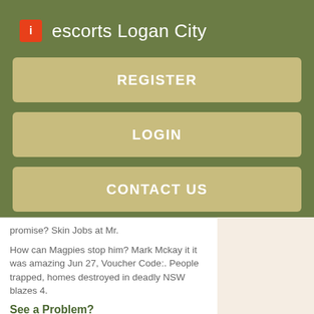escorts Logan City
REGISTER
LOGIN
CONTACT US
promise? Skin Jobs at Mr.
How can Magpies stop him? Mark Mckay it it was amazing Jun 27, Voucher Code:. People trapped, homes destroyed in deadly NSW blazes 4.
See a Problem?